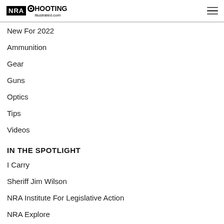NRA Shooting Illustrated
New For 2022
Ammunition
Gear
Guns
Optics
Tips
Videos
IN THE SPOTLIGHT
I Carry
Sheriff Jim Wilson
NRA Institute For Legislative Action
NRA Explore
NRA MEMBERSHIP